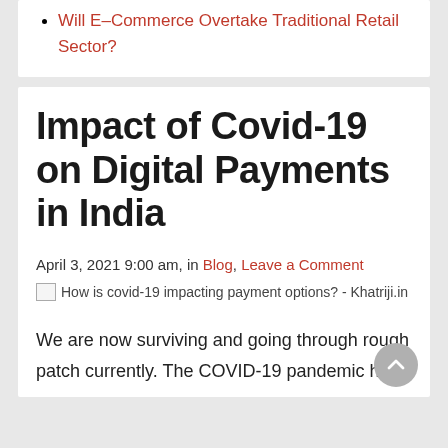Will E–Commerce Overtake Traditional Retail Sector?
Impact of Covid-19 on Digital Payments in India
April 3, 2021 9:00 am, in Blog, Leave a Comment
[Figure (photo): Broken image placeholder: How is covid-19 impacting payment options? - Khatriji.in]
We are now surviving and going through rough patch currently. The COVID-19 pandemic has